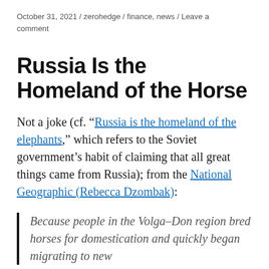October 31, 2021 / zerohedge / finance, news / Leave a comment
Russia Is the Homeland of the Horse
Not a joke (cf. “Russia is the homeland of the elephants,” which refers to the Soviet government’s habit of claiming that all great things came from Russia); from the National Geographic (Rebecca Dzombak):
Because people in the Volga–Don region bred horses for domestication and quickly began migrating to new